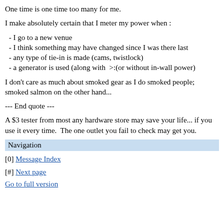One time is one time too many for me.
I make absolutely certain that I meter my power when :
- I go to a new venue
- I think something may have changed since I was there last
- any type of tie-in is made (cams, twistlock)
- a generator is used (along with  >:(or without in-wall power)
I don't care as much about smoked gear as I do smoked people; smoked salmon on the other hand...
--- End quote ---
A $3 tester from most any hardware store may save your life... if you use it every time.  The one outlet you fail to check may get you.
Navigation
[0] Message Index
[#] Next page
Go to full version